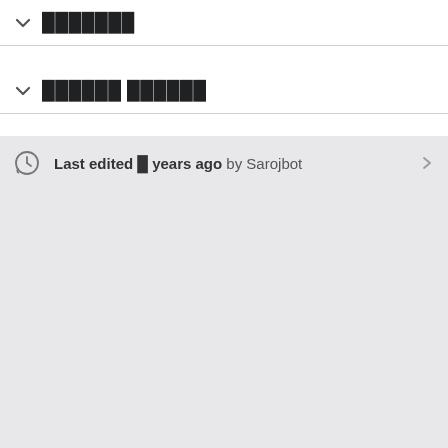███████
██████ ██████
Last edited █ years ago by Sarojbot